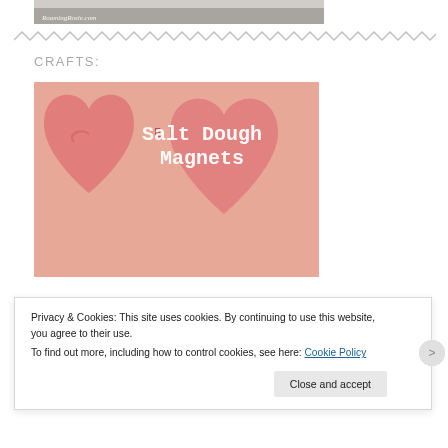[Figure (photo): Top portion of a photo with RoamingRosie.com watermark, partially cropped]
[Figure (illustration): Zigzag/wavy decorative divider line in gray]
CRAFTS:
[Figure (photo): Two pink heart-shaped salt dough magnets on a light background, with white text overlay reading 'Salt Dough Magnets' in typewriter font]
Privacy & Cookies: This site uses cookies. By continuing to use this website, you agree to their use.
To find out more, including how to control cookies, see here: Cookie Policy
Close and accept